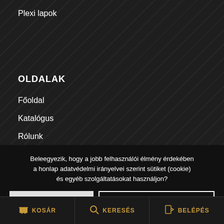Plexi lapok
OLDALAK
Főoldal
Katalógus
Rólunk
Kapcsolat
Ko...
Pénztár
Beleegyezik, hogy a jobb felhasználói élmény érdekében a honlap adatvédelmi irányelvei szerint sütiket (cookie) és egyéb szolgáltatásokat használjon?
Rendben
Adatkezelési tájékoztató
KOSÁR   KERESÉS   BELÉPÉS